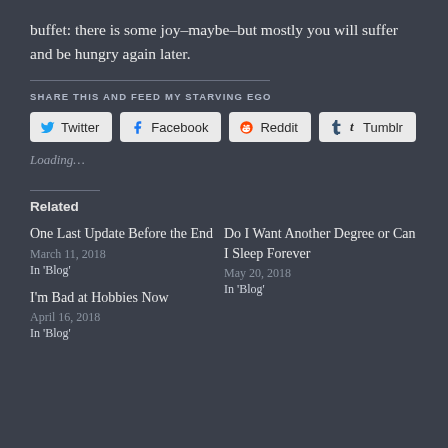buffet: there is some joy–maybe–but mostly you will suffer and be hungry again later.
SHARE THIS AND FEED MY STARVING EGO
Twitter | Facebook | Reddit | Tumblr
Loading...
Related
One Last Update Before the End
March 11, 2018
In 'Blog'
Do I Want Another Degree or Can I Sleep Forever
May 20, 2018
In 'Blog'
I'm Bad at Hobbies Now
April 16, 2018
In 'Blog'